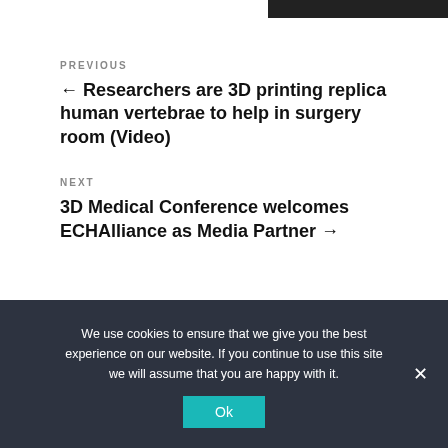[Figure (other): Dark header bar at top right]
PREVIOUS
← Researchers are 3D printing replica human vertebrae to help in surgery room (Video)
NEXT
3D Medical Conference welcomes ECHAlliance as Media Partner →
We use cookies to ensure that we give you the best experience on our website. If you continue to use this site we will assume that you are happy with it.
Ok